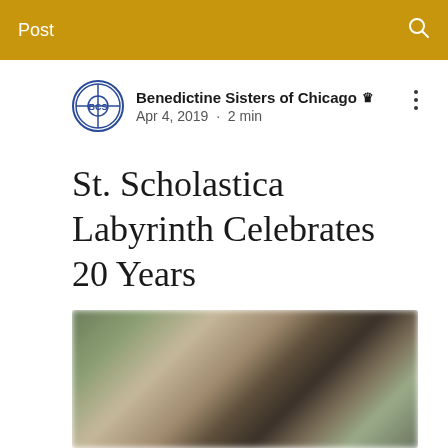Post
Benedictine Sisters of Chicago 👑 Admin
Apr 4, 2019 · 2 min
St. Scholastica Labyrinth Celebrates 20 Years
[Figure (photo): Blurred outdoor photo showing a labyrinth or garden area with trees and a building in the background]